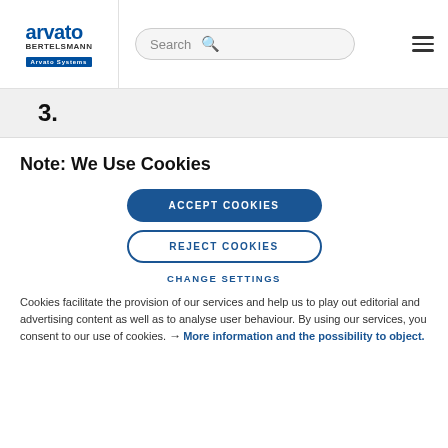[Figure (logo): Arvato Bertelsmann Arvato Systems logo]
Search [search icon] [hamburger menu]
3.
Note: We Use Cookies
ACCEPT COOKIES
REJECT COOKIES
CHANGE SETTINGS
Cookies facilitate the provision of our services and help us to play out editorial and advertising content as well as to analyse user behaviour. By using our services, you consent to our use of cookies. → More information and the possibility to object.